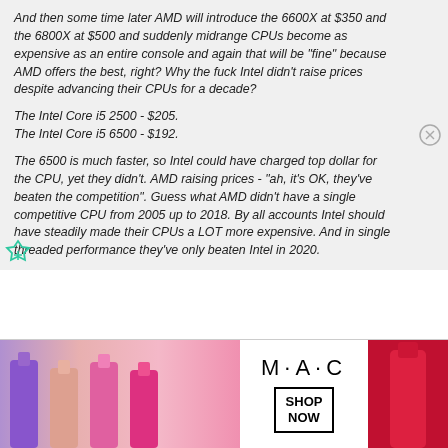And then some time later AMD will introduce the 6600X at $350 and the 6800X at $500 and suddenly midrange CPUs become as expensive as an entire console and again that will be "fine" because AMD offers the best, right? Why the fuck Intel didn't raise prices despite advancing their CPUs for a decade?

The Intel Core i5 2500 - $205.
The Intel Core i5 6500 - $192.

The 6500 is much faster, so Intel could have charged top dollar for the CPU, yet they didn't. AMD raising prices - "ah, it's OK, they've beaten the competition". Guess what AMD didn't have a single competitive CPU from 2005 up to 2018. By all accounts Intel should have steadily made their CPUs a LOT more expensive. And in single threaded performance they've only beaten Intel in 2020.
[Figure (photo): MAC cosmetics advertisement banner showing lipsticks with MAC logo and SHOP NOW button]